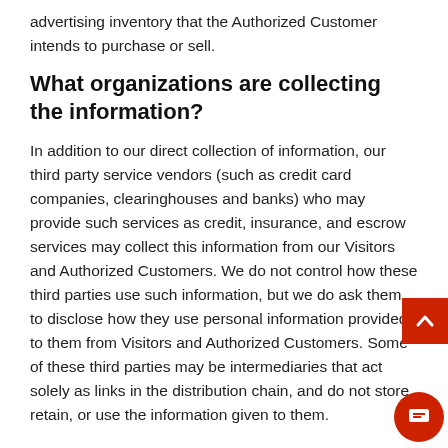advertising inventory that the Authorized Customer intends to purchase or sell.
What organizations are collecting the information?
In addition to our direct collection of information, our third party service vendors (such as credit card companies, clearinghouses and banks) who may provide such services as credit, insurance, and escrow services may collect this information from our Visitors and Authorized Customers. We do not control how these third parties use such information, but we do ask them to disclose how they use personal information provided to them from Visitors and Authorized Customers. Some of these third parties may be intermediaries that act solely as links in the distribution chain, and do not store, retain, or use the information given to them.